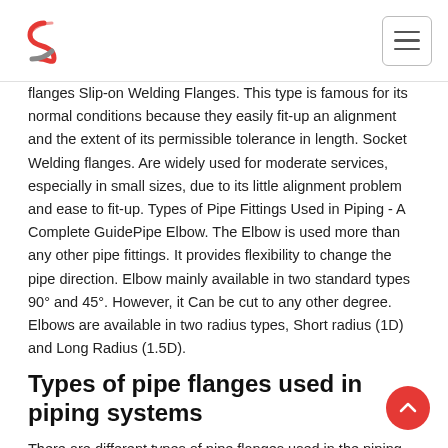flanges Slip-on Welding Flanges. This type is famous for its normal conditions because they easily fit-up an alignment and the extent of its permissible tolerance in length. Socket Welding flanges. Are widely used for moderate services, especially in small sizes, due to its little alignment problem and ease to fit-up. Types of Pipe Fittings Used in Piping - A Complete GuidePipe Elbow. The Elbow is used more than any other pipe fittings. It provides flexibility to change the pipe direction. Elbow mainly available in two standard types 90° and 45°. However, it Can be cut to any other degree. Elbows are available in two radius types, Short radius (1D) and Long Radius (1.5D).
Types of pipe flanges used in piping systems
There are different types of pipe flanges used in the piping systems depending upon the fluid, PT rating, material of construction, connecting equipment etc. Below are the types of flanges used in piping based on facing. Based on Facing 1.1)